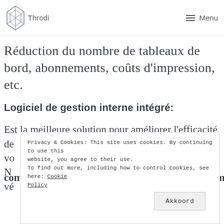Throdi — Menu
Réduction du nombre de tableaux de bord, abonnements, coûts d'impression, etc.
Logiciel de gestion interne intégré:
Est la meilleure solution pour améliorer l'efficacité de vo... N... vé... communication et garantir qu'aucune tâche ou memoire
Privacy & Cookies: This site uses cookies. By continuing to use this website, you agree to their use. To find out more, including how to control cookies, see here: Cookie Policy
Akkoord